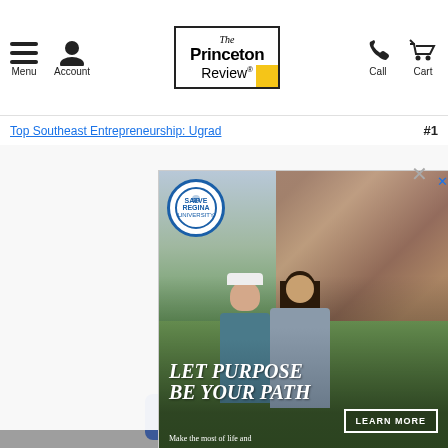The Princeton Review - Menu, Account, Call, Cart navigation
Top Southeast Entrepreneurship: Ugrad  #1
[Figure (screenshot): Modal popup advertisement for Salve Regina University showing two students walking on campus with text 'LET PURPOSE BE YOUR PATH' and a 'LEARN MORE' button, with subtitle 'Make the most of life and learning on Salve Regina's coastal campus.']
APPLY NOW »
Social share icons: Facebook, Twitter, Email